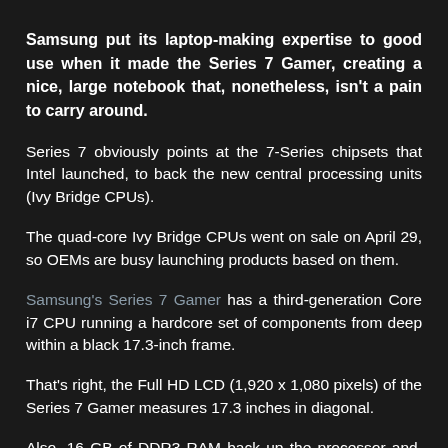Samsung put its laptop-making expertise to good use when it made the Series 7 Gamer, creating a nice, large notebook that, nonetheless, isn't a pain to carry around.
Series 7 obviously points at the 7-Series chipsets that Intel launched, to back the new central processing units (Ivy Bridge CPUs).
The quad-core Ivy Bridge CPUs went on sale on April 29, so OEMs are busy launching products based on them.
Samsung's Series 7 Gamer has a third-generation Core i7 CPU running a hardcore set of components from deep within a black 17.3-inch frame.
That's right, the Full HD LCD (1,920 x 1,080 pixels) of the Series 7 Gamer measures 17.3 inches in diagonal.
Also, 16 GB of DDR3 RAM back up the processor and, for